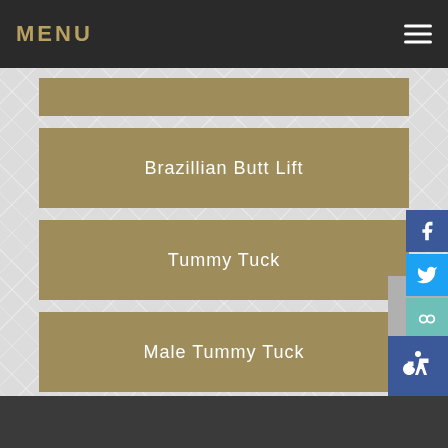MENU
Brazillian Butt Lift
Tummy Tuck
Male Tummy Tuck
Mommy Makeover
truSculpt ID